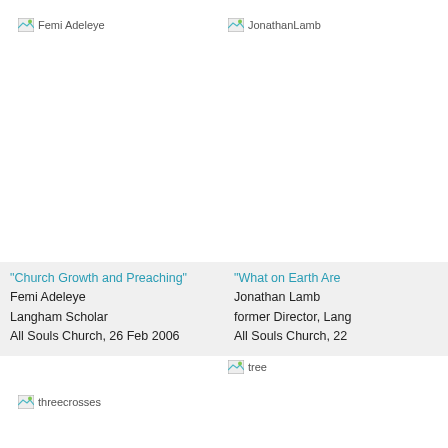[Figure (photo): Broken image placeholder labeled 'Femi Adeleye', top-left column]
"Church Growth and Preaching"
Femi Adeleye
Langham Scholar
All Souls Church, 26 Feb 2006
[Figure (photo): Broken image placeholder labeled 'threecrosses', bottom-left column]
[Figure (photo): Broken image placeholder labeled 'JonathanLamb', top-right column]
"What on Earth Are..."
Jonathan Lamb
former Director, Lang...
All Souls Church, 22...
[Figure (photo): Broken image placeholder labeled 'tree', bottom-right column]